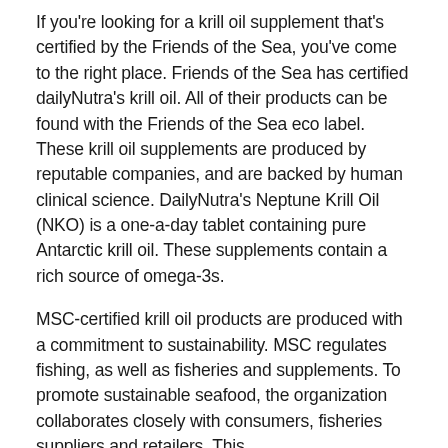If you're looking for a krill oil supplement that's certified by the Friends of the Sea, you've come to the right place. Friends of the Sea has certified dailyNutra's krill oil. All of their products can be found with the Friends of the Sea eco label. These krill oil supplements are produced by reputable companies, and are backed by human clinical science. DailyNutra's Neptune Krill Oil (NKO) is a one-a-day tablet containing pure Antarctic krill oil. These supplements contain a rich source of omega-3s.
MSC-certified krill oil products are produced with a commitment to sustainability. MSC regulates fishing, as well as fisheries and supplements. To promote sustainable seafood, the organization collaborates closely with consumers, fisheries suppliers and retailers. This